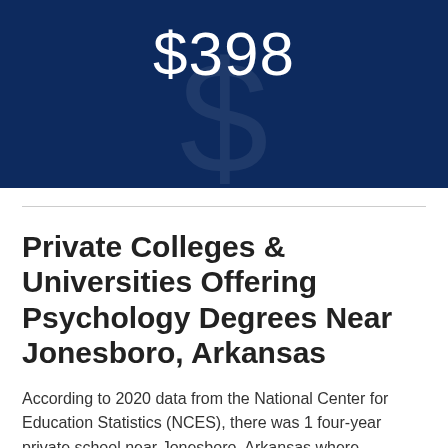[Figure (infographic): Dark navy blue banner with '$398' displayed in large white text and a large faint dollar sign watermark in the background.]
Private Colleges & Universities Offering Psychology Degrees Near Jonesboro, Arkansas
According to 2020 data from the National Center for Education Statistics (NCES), there was 1 four-year private school near Jonesboro, Arkansas where